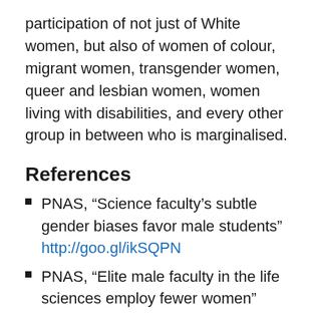participation of not just of White women, but also of women of colour, migrant women, transgender women, queer and lesbian women, women living with disabilities, and every other group in between who is marginalised.
References
PNAS, “Science faculty’s subtle gender biases favor male students” http://goo.gl/ikSQPN
PNAS, “Elite male faculty in the life sciences employ fewer women” http://goo.gl/LmNDHA
Sex Roles, “The Impact of Gender on the Review of the Curricula Vitae of Job Applicants and Tenure Candidates: A National Empirical Study” (study on psychologists) http://goo.gl/QvKHqA
Zevallos, Samarasinghe & Rao for Nature Soapbox